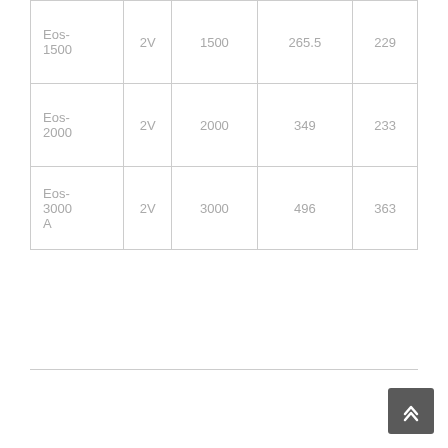| Eos-1500 | 2V | 1500 | 265.5 | 229 |
| Eos-2000 | 2V | 2000 | 349 | 233 |
| Eos-3000 A | 2V | 3000 | 496 | 363 |